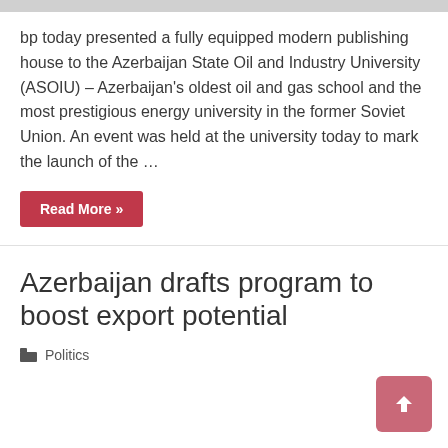bp today presented a fully equipped modern publishing house to the Azerbaijan State Oil and Industry University (ASOIU) – Azerbaijan's oldest oil and gas school and the most prestigious energy university in the former Soviet Union. An event was held at the university today to mark the launch of the …
Read More »
Azerbaijan drafts program to boost export potential
Politics